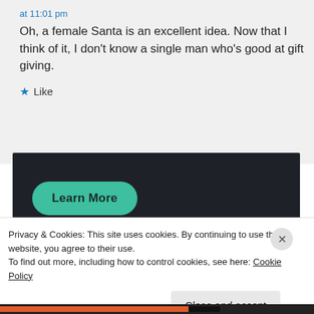at 11:01 pm
Oh, a female Santa is an excellent idea. Now that I think of it, I don’t know a single man who’s good at gift giving.
★ Like
[Figure (other): Dark advertisement banner with a teal 'Learn More' button]
Privacy & Cookies: This site uses cookies. By continuing to use this website, you agree to their use.
To find out more, including how to control cookies, see here: Cookie Policy
Close and accept